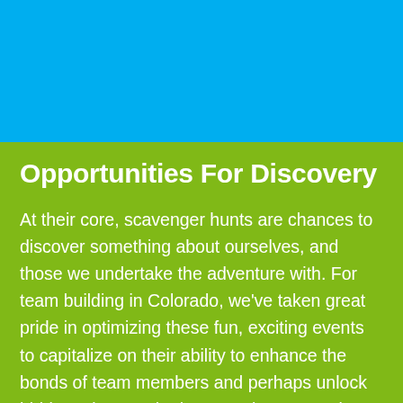[Figure (other): Solid sky-blue background header area]
Opportunities For Discovery
At their core, scavenger hunts are chances to discover something about ourselves, and those we undertake the adventure with. For team building in Colorado, we've taken great pride in optimizing these fun, exciting events to capitalize on their ability to enhance the bonds of team members and perhaps unlock hidden talents. Whether you choose to take your group out into the wilderness, or hunt closer to